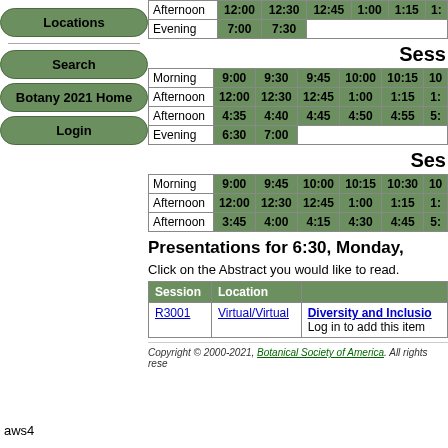Locations
Search
Botany 2021 Home
Login
| Afternoon | 12:00 | 12:30 | 12:45 | 1:00 | 1:15 | 1: |
| Evening | 7:00 | 7:30 |  |  |  |  |
Sess
| Morning | 9:00 | 9:30 | 9:45 | 10:00 | 10:15 | 10 |
| Afternoon | 12:00 | 12:30 | 12:45 | 1:00 | 1:15 | 1: |
| Afternoon | 4:35 | 4:40 | 4:45 | 4:50 | 4:55 | 5: |
| Evening | 6:30 | 7:00 |  |  |  |  |
Ses
| Morning | 9:00 | 9:45 | 10:00 | 10:15 | 10:30 | 10 |
| Afternoon | 12:00 | 12:30 | 12:45 | 1:00 | 1:15 | 1: |
| Afternoon | 3:45 | 4:00 | 4:15 | 4:30 | 4:45 | 5: |
Presentations for 6:30, Monday,
Click on the Abstract you would like to read.
| Session | Location |  |
| --- | --- | --- |
| R3001 | Virtual/Virtual | Diversity and Inclusio...
Log in to add this item |
Copyright © 2000-2021, Botanical Society of America. All rights rese...
aws4